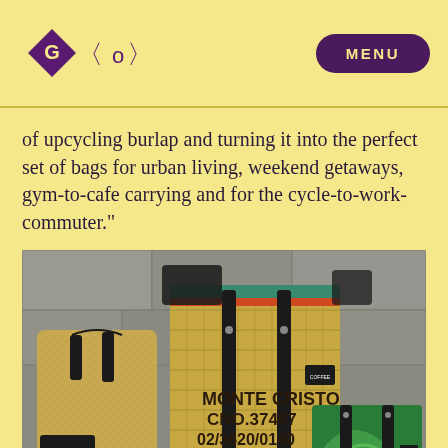GO <O> MENU
of upcycling burlap and turning it into the perfect set of bags for urban living, weekend getaways, gym-to-cafe carrying and for the cycle-to-work-commuter."
[Figure (photo): Collection of upcycled burlap coffee sack bags including backpacks and tote bags, with text 'MONTE CRISTO CNO.37467 02/3620/0140' visible on one bag, displayed against a stone wall background.]